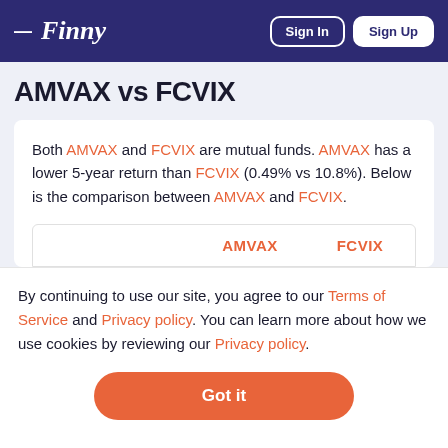Finny — Sign In | Sign Up
AMVAX vs FCVIX
Both AMVAX and FCVIX are mutual funds. AMVAX has a lower 5-year return than FCVIX (0.49% vs 10.8%). Below is the comparison between AMVAX and FCVIX.
|  | AMVAX | FCVIX |
| --- | --- | --- |
By continuing to use our site, you agree to our Terms of Service and Privacy policy. You can learn more about how we use cookies by reviewing our Privacy policy.
Got it